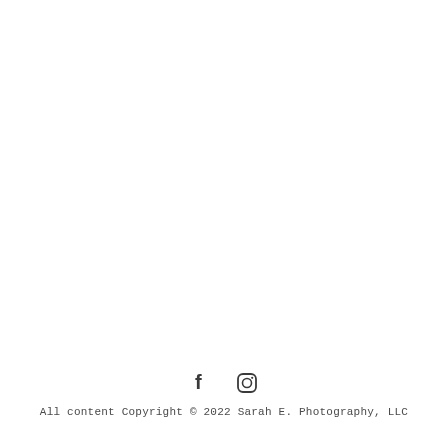[Figure (other): Social media icons: Facebook (f) and Instagram (camera/circle) icons side by side]
All content Copyright © 2022 Sarah E. Photography, LLC